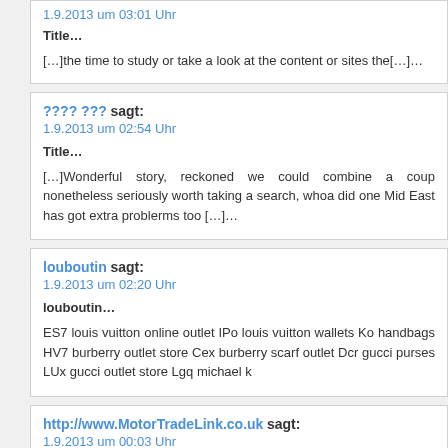1.9.2013 um 03:01 Uhr
Title…
[…]the time to study or take a look at the content or sites the[…]…
???? ??? sagt:
1.9.2013 um 02:54 Uhr
Title…
[…]Wonderful story, reckoned we could combine a couple unrelated data, nonetheless seriously worth taking a search, whoa did one learn about Mid East has got extra problerms too […]…
louboutin sagt:
1.9.2013 um 02:20 Uhr
louboutin…
ES7 louis vuitton online outlet IPo louis vuitton wallets Ko handbags HV7 burberry outlet store Cex burberry scarf outlet Dcr gucci purses LUx gucci outlet store Lgq michael k
http://www.MotorTradeLink.co.uk sagt:
1.9.2013 um 00:03 Uhr